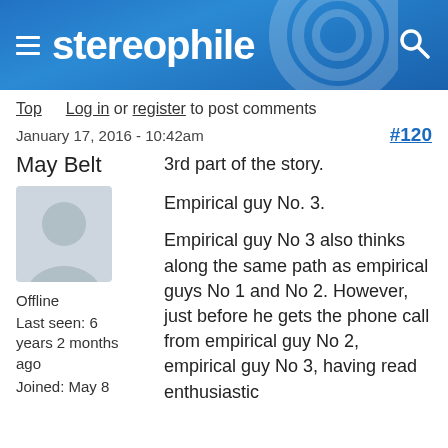stereophile
Top   Log in or register to post comments
January 17, 2016 - 10:42am   #120
May Belt
[Figure (photo): Default user avatar silhouette on grey background]
Offline
Last seen: 6 years 2 months ago
Joined: May 8
3rd part of the story.

Empirical guy No. 3.

Empirical guy No 3 also thinks along the same path as empirical guys No 1 and No 2. However, just before he gets the phone call from empirical guy No 2, empirical guy No 3, having read enthusiastic